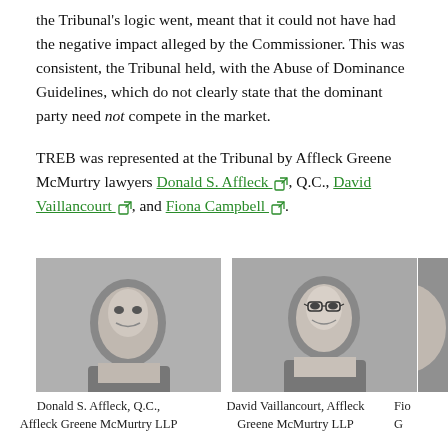the Tribunal's logic went, meant that it could not have had the negative impact alleged by the Commissioner. This was consistent, the Tribunal held, with the Abuse of Dominance Guidelines, which do not clearly state that the dominant party need not compete in the market.
TREB was represented at the Tribunal by Affleck Greene McMurtry lawyers Donald S. Affleck, Q.C., David Vaillancourt, and Fiona Campbell.
[Figure (photo): Black and white headshot photo of Donald S. Affleck, Q.C., an older man in a suit]
Donald S. Affleck, Q.C., Affleck Greene McMurtry LLP
[Figure (photo): Black and white headshot photo of David Vaillancourt, a younger man with glasses and a smile]
David Vaillancourt, Affleck Greene McMurtry LLP
[Figure (photo): Black and white headshot photo of Fiona Campbell, partially visible on the right edge]
Fiona Campbell, Affleck Greene McMurtry LLP